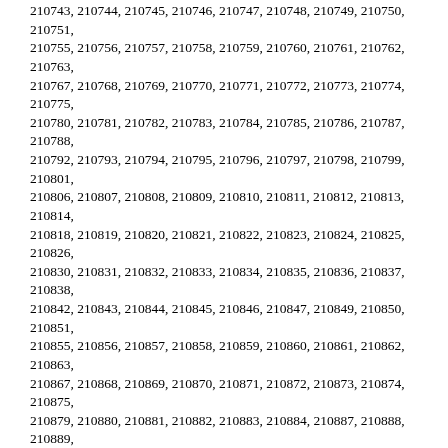210743, 210744, 210745, 210746, 210747, 210748, 210749, 210750, 210751, 210755, 210756, 210757, 210758, 210759, 210760, 210761, 210762, 210763, 210767, 210768, 210769, 210770, 210771, 210772, 210773, 210774, 210775, 210780, 210781, 210782, 210783, 210784, 210785, 210786, 210787, 210788, 210792, 210793, 210794, 210795, 210796, 210797, 210798, 210799, 210801, 210806, 210807, 210808, 210809, 210810, 210811, 210812, 210813, 210814, 210818, 210819, 210820, 210821, 210822, 210823, 210824, 210825, 210826, 210830, 210831, 210832, 210833, 210834, 210835, 210836, 210837, 210838, 210842, 210843, 210844, 210845, 210846, 210847, 210849, 210850, 210851, 210855, 210856, 210857, 210858, 210859, 210860, 210861, 210862, 210863, 210867, 210868, 210869, 210870, 210871, 210872, 210873, 210874, 210875, 210879, 210880, 210881, 210882, 210883, 210884, 210887, 210888, 210889, 210893, 210894, 210895, 210896, 210899, 210900, 210902, 210903, 210904, 210908, 210909, 210910, 210911, 210912, 210913, 210914, 210915, 210916, 210921, 210922, 210923, 210924, 210925, 210927, 210929, 210930, 210931, 210935, 210936, 210937, 210938, 210939, 210940, 210941, 210942, 210943, 210947, 210948, 210949, 210950, 210951, 210952, 210953, 210954, 210955, 210959, 210960, 210961, 210962, 210963, 210964, 210965, 210966, 210967, 210971, 210972, 210973, 210974, 210975, 210976, 210977, 210979, 210980, 210984, 210985, 210986, 210987, 210988, 210989, 210990, 210991, 210992, 210996, 210997, 210998, 210999, 211000, 211001, 211002, 211004, 211005, 211009, 211010, 211012, 211013, 211014, 211015, 211016, 211017, 211018, 211022, 211023, 211024, 211025, 211026, 211027, 211028, 211029, 211030, 211035, 211036, 211038, 211039, 211040, 211041, 211042, 211043, 211044, 211048, 211051, 211052, 211053, 211054, 211055, 211056, 211057, 211058, 211062, 211063, 211064, 211065, 211066, 211067, 211068, 211069, 211070, 211074, 211075, 211076, 211077, 211078, 211079, 211080, 211081, 211082, 211087, 211088, 211089, 211090, 211096, 211097, 211098, 211099, 211100, 211104, 211105, 211106, 211107, 211108, 211109, 211110, 211111, 211112, 211116, 211117, 211118, 211119, 211120, 211121, 211122, 211124, 211125, 211129, 211130, 211131, 211132, 211134, 211135, 211136, 211137, 211138, 211144, 211146, 211147, 211148, 211149, 211150, 211152, 211153,